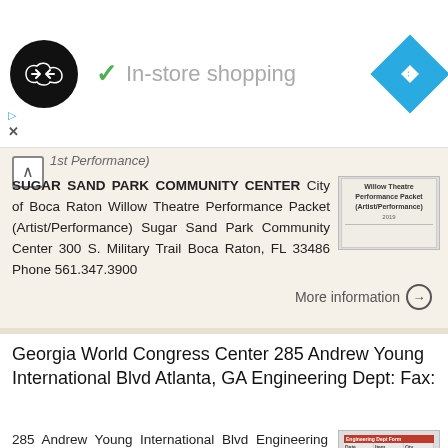[Figure (screenshot): Ad bar with circular logo, checkmark and 'In-store shopping' text, blue navigation diamond icon]
1st Performance)
SUGAR SAND PARK COMMUNITY CENTER City of Boca Raton Willow Theatre Performance Packet (Artist/Performance) Sugar Sand Park Community Center 300 S. Military Trail Boca Raton, FL 33486 Phone 561.347.3900
More information →
Georgia World Congress Center 285 Andrew Young International Blvd Atlanta, GA Engineering Dept: Fax:
285 Andrew Young International Blvd Engineering Dept: 404-223-4800 Fax: 404-223-4813 Event dates: September 17-19, 2019 Standard Rates will be applied to all